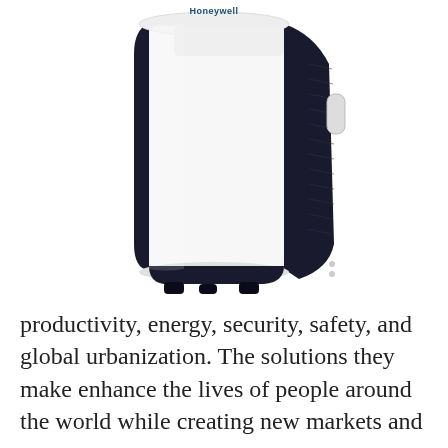[Figure (photo): A white Honeywell portable air conditioner unit, photographed from a slight angle showing the front and right side. The unit is white with black accents along the right edge and bottom. The Honeywell logo is visible at the top. The unit stands on small black feet/casters.]
productivity, energy, security, safety, and global urbanization. The solutions they make enhance the lives of people around the world while creating new markets and